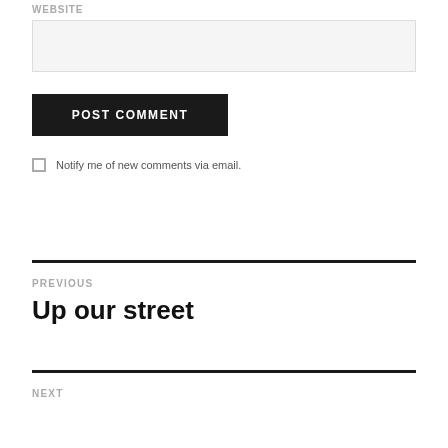WEBSITE
POST COMMENT
Notify me of new comments via email.
PREVIOUS
Up our street
NEXT